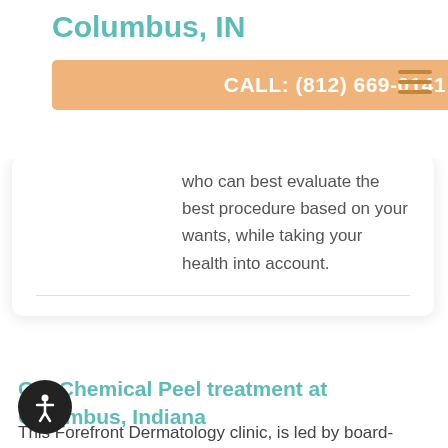Columbus, IN
CALL: (812) 669-0141
who can best evaluate the best procedure based on your wants, while taking your health into account.
Get Chemical Peel treatment at Columbus, Indiana
This Forefront Dermatology clinic, is led by board-certified dermatologist, Dr. Kevin Crawford, offering Chemical Peel treatment to the residents of Columbus, Indiana.